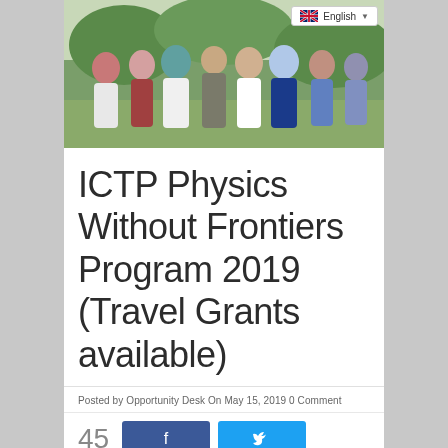[Figure (photo): Group photo of students and a professor standing outdoors, several women wearing hijabs, taken on a university campus]
ICTP Physics Without Frontiers Program 2019 (Travel Grants available)
Posted by Opportunity Desk On May 15, 2019 0 Comment
45